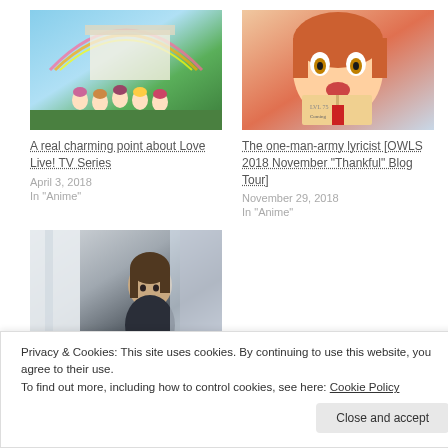[Figure (illustration): Anime group illustration - Love Live TV Series characters in school uniforms with rainbow background]
A real charming point about Love Live! TV Series
April 3, 2018
In "Anime"
[Figure (illustration): Anime character illustration - girl with orange hair holding a book]
The one-man-army lyricist [OWLS 2018 November "Thankful" Blog Tour]
November 29, 2018
In "Anime"
[Figure (illustration): Anime character illustration - dark haired character near curtains]
Privacy & Cookies: This site uses cookies. By continuing to use this website, you agree to their use.
To find out more, including how to control cookies, see here: Cookie Policy